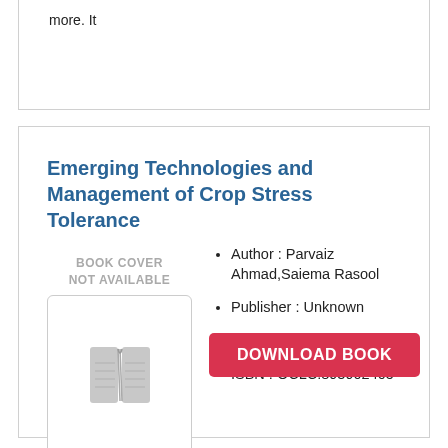more. It
Emerging Technologies and Management of Crop Stress Tolerance
Author : Parvaiz Ahmad,Saiema Rasool
Publisher : Unknown
Release Date : 2014
ISBN : OCLC:893902405
[Figure (illustration): Book cover placeholder showing a grey open book icon with text BOOK COVER NOT AVAILABLE]
DOWNLOAD BOOK